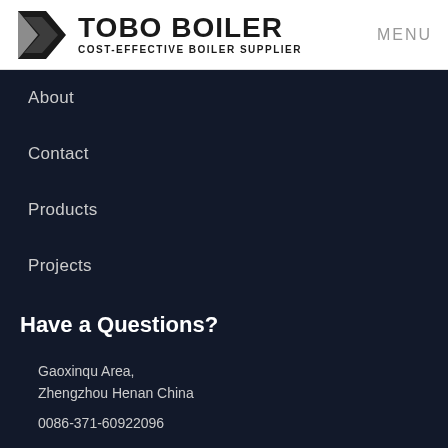TOBO BOILER — COST-EFFECTIVE BOILER SUPPLIER | MENU
About
Contact
Products
Projects
Have a Questions?
Gaoxinqu Area,
Zhengzhou Henan China
0086-371-60922096
price@boilermanufactory.com